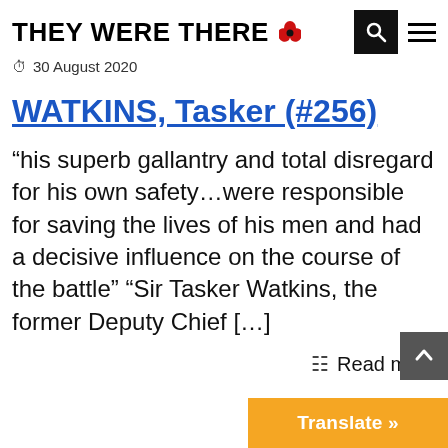THEY WERE THERE 🌸
30 August 2020
WATKINS, Tasker (#256)
“his superb gallantry and total disregard for his own safety…were responsible for saving the lives of his men and had a decisive influence on the course of the battle” “Sir Tasker Watkins, the former Deputy Chief […]
Read more